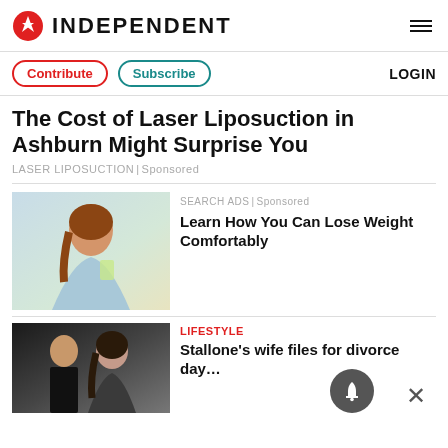INDEPENDENT
Contribute | Subscribe | LOGIN
The Cost of Laser Liposuction in Ashburn Might Surprise You
LASER LIPOSUCTION | Sponsored
[Figure (photo): Woman smiling holding a green drink]
SEARCH ADS | Sponsored
Learn How You Can Lose Weight Comfortably
[Figure (photo): Couple at formal event, man in tuxedo and woman with dark hair]
LIFESTYLE
Stallone's wife files for divorce day…